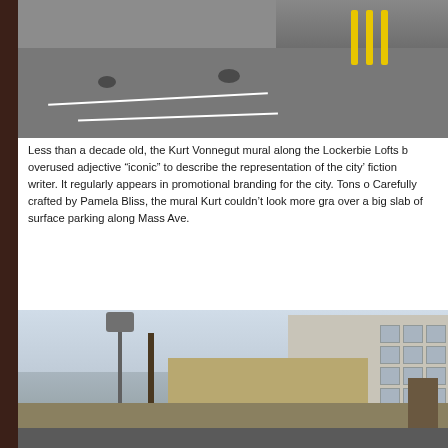[Figure (photo): Overhead view of a surface parking lot with painted white lines, a concrete wall in the background, and yellow bollard poles visible at upper right]
Less than a decade old, the Kurt Vonnegut mural along the Lockerbie Lofts b... overused adjective “iconic” to describe the representation of the city’s... fiction writer. It regularly appears in promotional branding for the city. Tons o... Carefully crafted by Pamela Bliss, the mural Kurt couldn’t look more gra... over a big slab of surface parking along Mass Ave.
[Figure (photo): Street-level view looking toward a large multi-story beige building and a mural wall along Mass Ave in Indianapolis, with bare winter trees and a street lamp in the foreground]